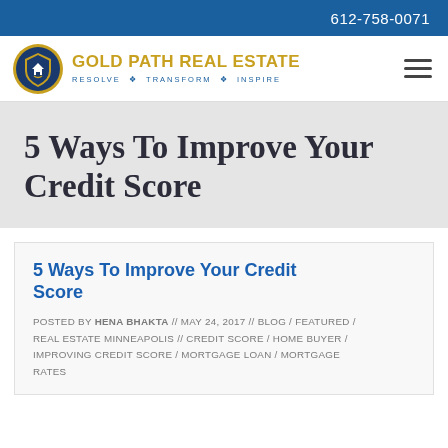612-758-0071
[Figure (logo): Gold Path Real Estate logo with shield icon, tagline RESOLVE TRANSFORM INSPIRE]
5 Ways To Improve Your Credit Score
5 Ways To Improve Your Credit Score
POSTED BY HENA BHAKTA // MAY 24, 2017 // BLOG / FEATURED / REAL ESTATE MINNEAPOLIS // CREDIT SCORE / HOME BUYER / IMPROVING CREDIT SCORE / MORTGAGE LOAN / MORTGAGE RATES